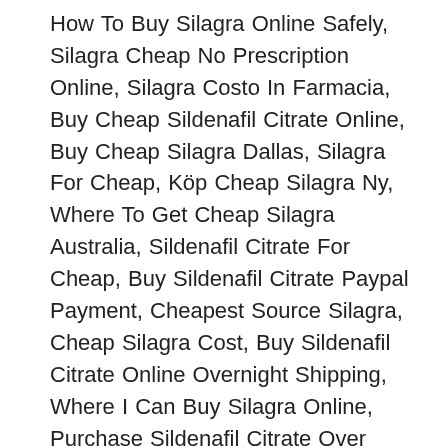How To Buy Silagra Online Safely, Silagra Cheap No Prescription Online, Silagra Costo In Farmacia, Buy Cheap Sildenafil Citrate Online, Buy Cheap Silagra Dallas, Silagra For Cheap, Köp Cheap Silagra Ny, Where To Get Cheap Silagra Australia, Sildenafil Citrate For Cheap, Buy Sildenafil Citrate Paypal Payment, Cheapest Source Silagra, Cheap Silagra Cost, Buy Sildenafil Citrate Online Overnight Shipping, Where I Can Buy Silagra Online, Purchase Sildenafil Citrate Over Internet, Order Cheap Silagra Holland, Sildenafil Citrate Online Pharmacy Sale, Sildenafil Citrate Purchased, Where To Order Generic Silagra Australia, Where To Order Generic Silagra Switzerland, Beställ Generic Silagra Washington, Buy Generic Sildenafil Citrate Online, Billig Online Silagra Sweden, Quanto Costa Sildenafil Citrate, Sildenafil Citrate For Sale, Silagra Cheap Cost, Order Generic Silagra Dallas, Canadian Sildenafil Citrate Cheap, Brand Silagra Cheap, Combien Online Silagra La, Cheap Silagra Fast, Buy